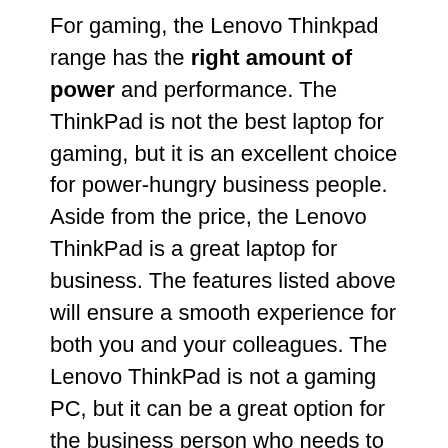For gaming, the Lenovo Thinkpad range has the right amount of power and performance. The ThinkPad is not the best laptop for gaming, but it is an excellent choice for power-hungry business people. Aside from the price, the Lenovo ThinkPad is a great laptop for business. The features listed above will ensure a smooth experience for both you and your colleagues. The Lenovo ThinkPad is not a gaming PC, but it can be a great option for the business person who needs to be mobile.
Although the Lenovo Thinkpad is a great option for business people, it's not an ideal laptop for gamers. A standard laptop will not be enough for the majority of people who want to play games. If you're looking for a laptop that can handle multiple tasks, a gaming model will be an excellent choice. A thin and lightweight design will allow for easy portability. A sleek, compact design with high-quality hardware